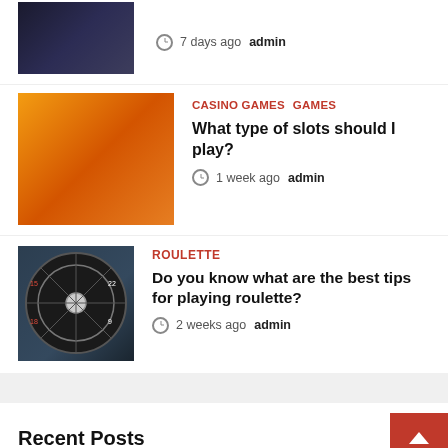[Figure (photo): Casino chips and dice on dark background (partial, top of page)]
7 days ago  admin
[Figure (photo): Women playing slot machines in a casino]
Casino Games  Games
What type of slots should I play?
1 week ago  admin
[Figure (photo): Roulette wheel close-up]
ROULETTE
Do you know what are the best tips for playing roulette?
2 weeks ago  admin
Recent Posts
[Figure (infographic): Social media share bar: Facebook, Twitter, Reddit, LinkedIn, Pinterest, MeWe, Mix, WhatsApp, Share]